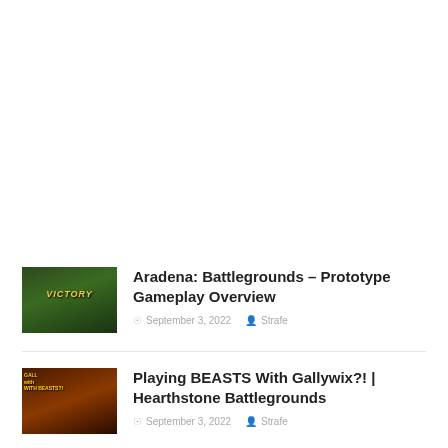[Figure (photo): Thumbnail image for Aradena: Battlegrounds game showing a victory screen with figures on a green landscape]
Aradena: Battlegrounds – Prototype Gameplay Overview
September 3, 2022  Strafe
[Figure (photo): Thumbnail image for Hearthstone Battlegrounds showing Gallywix card art with beasts]
Playing BEASTS With Gallywix?! | Hearthstone Battlegrounds
September 3, 2022  Strafe